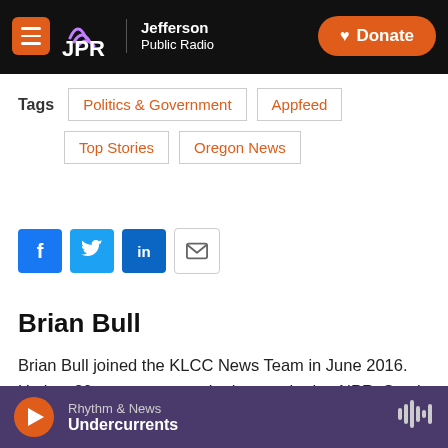JPR Jefferson Public Radio | Donate
Tags: Politics & Government | Appfeed | Top Stories | Oregon News
[Figure (infographic): Social share buttons: Facebook, Twitter, LinkedIn, Email]
Brian Bull
Brian Bull joined the KLCC News Team in June 2016. He is a 20-year reporter who has worked at NPR, South Dakota Public Broadcasting, Wisconsin Public Radio, and ideastream in Cleveland. His reporting has netted dozens of accolades, including three Edward R. Murrow Awards
Rhythm & News — Undercurrents